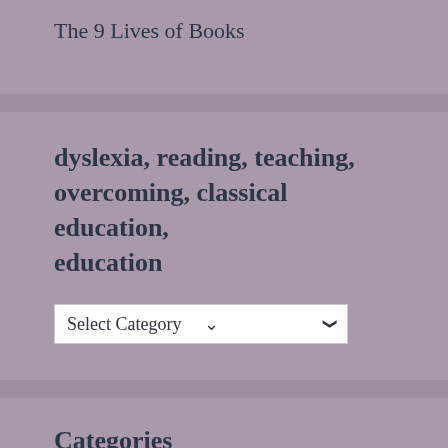The 9 Lives of Books
dyslexia, reading, teaching, overcoming, classical education, education
[Figure (screenshot): A dropdown select box labeled 'Select Category']
Categories
classical education
dyslexia reading (partial, cut off)